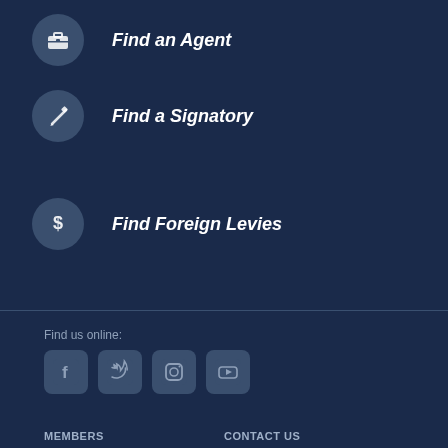Find an Agent
Find a Signatory
Find Foreign Levies
Find us online:
[Figure (infographic): Social media icons: Facebook, Twitter, Instagram, YouTube]
MEMBERS
CONTACT US
EMPLOYERS AND AGENTS
FAQS